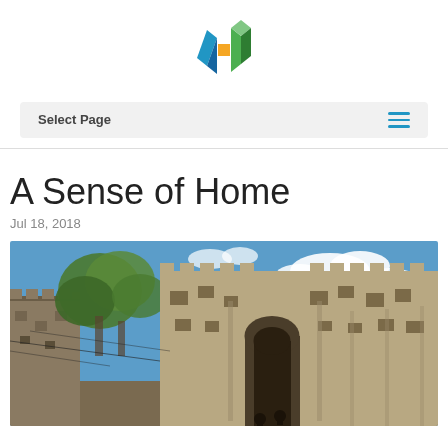[Figure (logo): Colorful geometric logo with blue, orange, and green triangular shapes]
Select Page
A Sense of Home
Jul 18, 2018
[Figure (photo): Ancient stone fortress/castle with towers, archways, and trees under a blue sky with clouds]